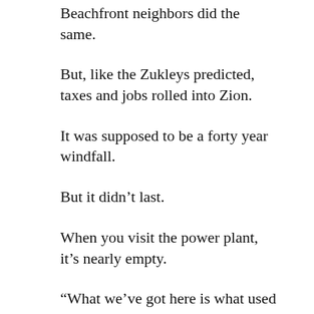Beachfront neighbors did the same.
But, like the Zukleys predicted, taxes and jobs rolled into Zion.
It was supposed to be a forty year windfall.
But it didn't last.
When you visit the power plant, it's nearly empty.
“What we’ve got here is what used to be a full-fledged control room.”
Ron Schuster runs what’s left of the Zion